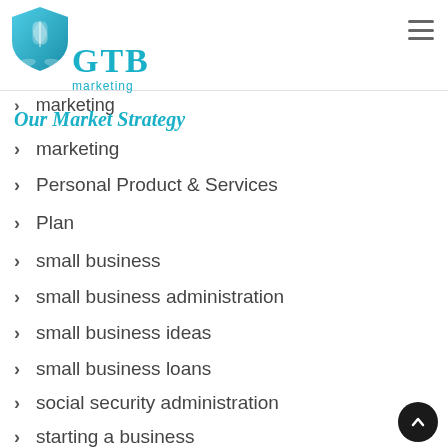GTB marketing
marketing
Our Market Strategy
marketing
Personal Product & Services
Plan
small business
small business administration
small business ideas
small business loans
social security administration
starting a business